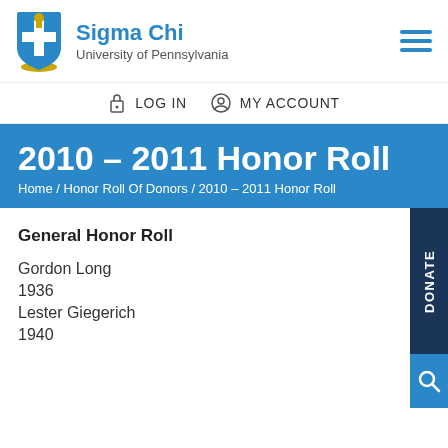Sigma Chi University of Pennsylvania
LOG IN   MY ACCOUNT
2010 – 2011 Honor Roll
Home / Honor Roll Of Donors / 2010 – 2011 Honor Roll
General Honor Roll
Gordon Long
1936
Lester Giegerich
1940